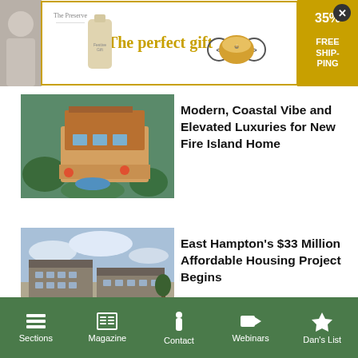[Figure (screenshot): Advertisement banner for The Preserve: 'The perfect gift' with product imagery, navigation arrows, food bowl, and '35% FREE SHIPPING' badge]
[Figure (photo): Aerial photo of a modern coastal home on Fire Island with wood decking and rooftop terrace]
Modern, Coastal Vibe and Elevated Luxuries for New Fire Island Home
[Figure (photo): Rendering of an affordable housing project building in East Hampton, a two-story colonial-style structure with landscaping]
East Hampton's $33 Million Affordable Housing Project Begins
[Figure (photo): Partial aerial photograph of Meadow Lane property showing coastline]
One Meadow Lane Property
Sections  Magazine  Contact  Webinars  Dan's List